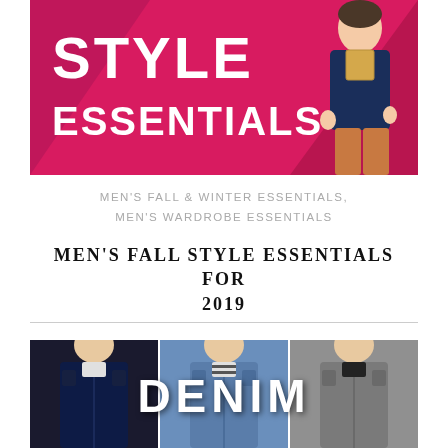[Figure (illustration): Pink/magenta banner with bold white text reading 'STYLE ESSENTIALS' and a man in smart casual outfit on the right side]
MEN'S FALL & WINTER ESSENTIALS, MEN'S WARDROBE ESSENTIALS
MEN'S FALL STYLE ESSENTIALS FOR 2019
[Figure (photo): Three men wearing different denim jackets — dark navy, medium blue, and grey — with large white text 'DENIM' overlaid in the center panel]